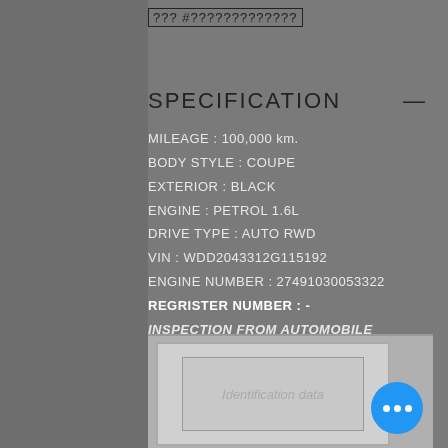??? #?????????????
SPECIFICATION
MILEAGE : 100,000 km.
BODY STYLE : COUPE
EXTERIOR : BLACK
ENGINE : PETROL 1.6L
DRIVE TYPE : AUTO RWD
VIN : WDD2043312G115192
ENGINE NUMBER : 27491030053322
REGRISTER NUMBER : -
INSPECTION FROM  AUTOMOBILE CATALOG
[Figure (other): Identification data document/certificate partially visible at bottom of page]